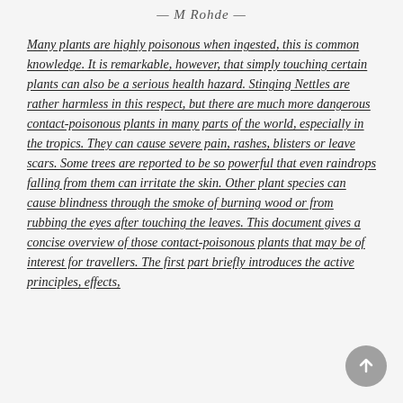— M Rohde —
Many plants are highly poisonous when ingested, this is common knowledge. It is remarkable, however, that simply touching certain plants can also be a serious health hazard. Stinging Nettles are rather harmless in this respect, but there are much more dangerous contact-poisonous plants in many parts of the world, especially in the tropics. They can cause severe pain, rashes, blisters or leave scars. Some trees are reported to be so powerful that even raindrops falling from them can irritate the skin. Other plant species can cause blindness through the smoke of burning wood or from rubbing the eyes after touching the leaves. This document gives a concise overview of those contact-poisonous plants that may be of interest for travellers. The first part briefly introduces the active principles, effects,